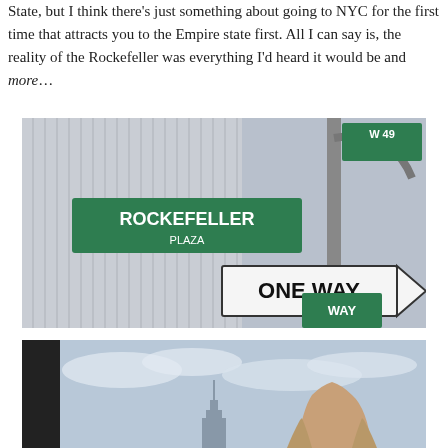State, but I think there's just something about going to NYC for the first time that attracts you to the Empire state first. All I can say is, the reality of the Rockefeller was everything I'd heard it would be and more…
[Figure (photo): Street-level photo of Rockefeller Plaza sign and W49 street sign with a ONE WAY arrow sign, tall glass skyscraper building in background.]
[Figure (photo): Photo of a person with long hair looking out a window at a cloudy sky with the Empire State Building visible in the distance.]